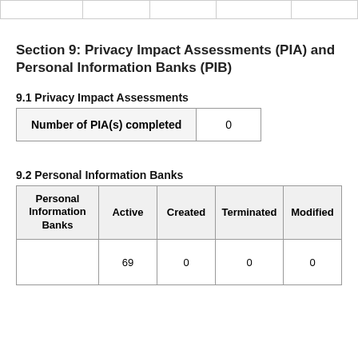|  |  |  |  |  |
| --- | --- | --- | --- | --- |
|  |  |  |  |  |
Section 9: Privacy Impact Assessments (PIA) and Personal Information Banks (PIB)
9.1 Privacy Impact Assessments
| Number of PIA(s) completed | 0 |
| --- | --- |
9.2 Personal Information Banks
| Personal Information Banks | Active | Created | Terminated | Modified |
| --- | --- | --- | --- | --- |
|  | 69 | 0 | 0 | 0 |